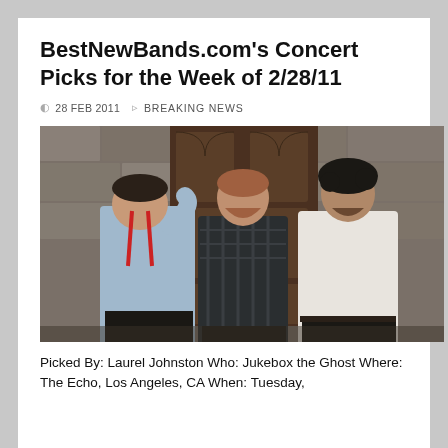BestNewBands.com's Concert Picks for the Week of 2/28/11
28 FEB 2011   BREAKING NEWS
[Figure (photo): Three young men standing in front of a large wooden door set in a stone wall. Left man wears a light blue shirt with red suspenders and has his head bowed. Middle man has a beard and wears a dark plaid shirt. Right man has curly dark hair and wears a white long-sleeve shirt.]
Picked By: Laurel Johnston Who: Jukebox the Ghost Where: The Echo, Los Angeles, CA When: Tuesday,